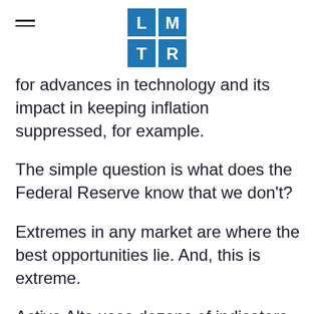LMTR logo and hamburger menu
for advances in technology and its impact in keeping inflation suppressed, for example.
The simple question is what does the Federal Reserve know that we don't?
Extremes in any market are where the best opportunities lie. And, this is extreme.
Active Alts uses dozens of indicators to monitor extremes and pounce on opportunities with tremendous risk / reward ratios in the market.